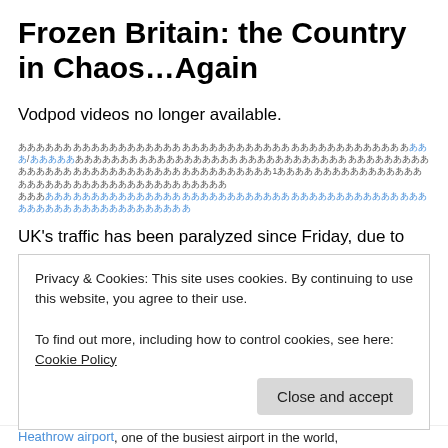Frozen Britain: the Country in Chaos…Again
Vodpod videos no longer available.
[redacted URL with links] ...1... [redacted link]
UK's traffic has been paralyzed since Friday, due to the big freeze affecting Northern Europe (related article/past entry of my blog). It's the busiest time of the year just
Privacy & Cookies: This site uses cookies. By continuing to use this website, you agree to their use.
To find out more, including how to control cookies, see here: Cookie Policy
Close and accept
Heathrow airport, one of the busiest airport in the world,